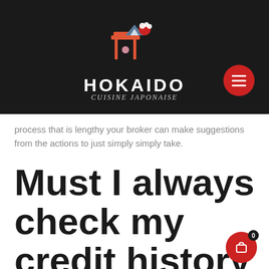[Figure (logo): Hokaido Cuisine Japonaise logo with torii gate, mountain, and cherry blossom icon on dark background]
process that is lengthy your broker can make suggestions from the actions to just simply simply take.
Must I always check my credit history